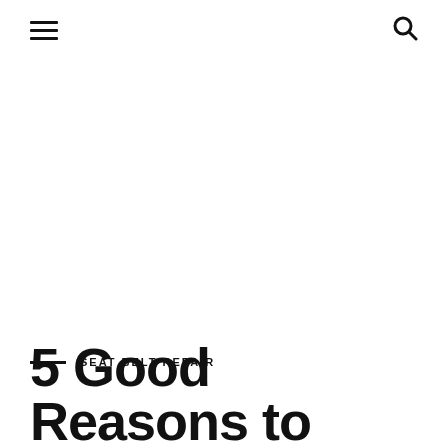≡  🔍
SEAT BELT REPAIR
5 Good Reasons to